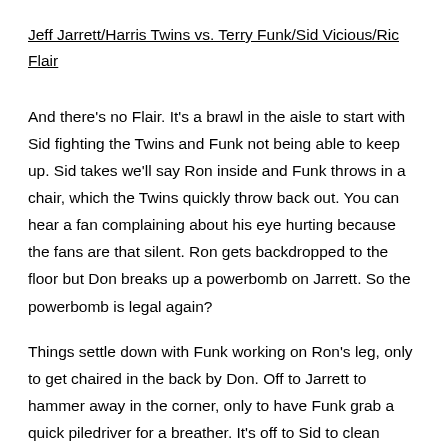Jeff Jarrett/Harris Twins vs. Terry Funk/Sid Vicious/Ric Flair
And there's no Flair. It's a brawl in the aisle to start with Sid fighting the Twins and Funk not being able to keep up. Sid takes we'll say Ron inside and Funk throws in a chair, which the Twins quickly throw back out. You can hear a fan complaining about his eye hurting because the fans are that silent. Ron gets backdropped to the floor but Don breaks up a powerbomb on Jarrett. So the powerbomb is legal again?
Things settle down with Funk working on Ron's leg, only to get chaired in the back by Don. Off to Jarrett to hammer away in the corner, only to have Funk grab a quick piledriver for a breather. It's off to Sid to clean house and here comes Flair to go after Funk as we flash back to 1989. Actually that's a great thing. Security drags him away and Ron gets chokeslammed with Don making a save. That